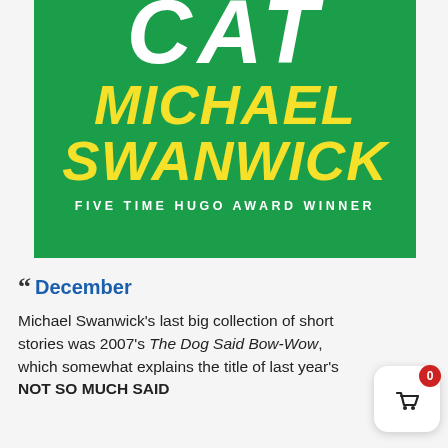[Figure (illustration): Book cover for a Michael Swanwick collection on a green background. Large white brushstroke text reads 'CAT' at the top, followed by large yellow brushstroke text reading 'MICHAEL SWANWICK', and white uppercase text 'FIVE TIME HUGO AWARD WINNER' at the bottom.]
" December
Michael Swanwick’s last big collection of short stories was 2007’s The Dog Said Bow-Wow, which somewhat explains the title of last year’s NOT SO MUCH SAID